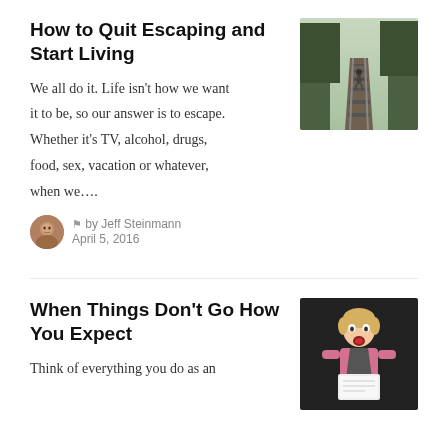How to Quit Escaping and Start Living
We all do it. Life isn't how we want it to be, so our answer is to escape. Whether it's TV, alcohol, drugs, food, sex, vacation or whatever, when we….
by Jeff Steinmann
April 5, 2016
[Figure (photo): Person walking on railroad tracks through forested area]
When Things Don't Go How You Expect
Think of everything you do as an
[Figure (photo): Young child with surprised expression holding paper, dark background]